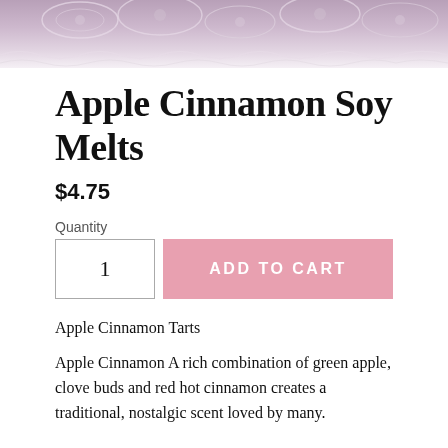[Figure (photo): Product photo showing lace fabric in pink/mauve tones at the top of the page]
Apple Cinnamon Soy Melts
$4.75
Quantity
1
ADD TO CART
Apple Cinnamon Tarts
Apple Cinnamon A rich combination of green apple, clove buds and red hot cinnamon creates a traditional, nostalgic scent loved by many.